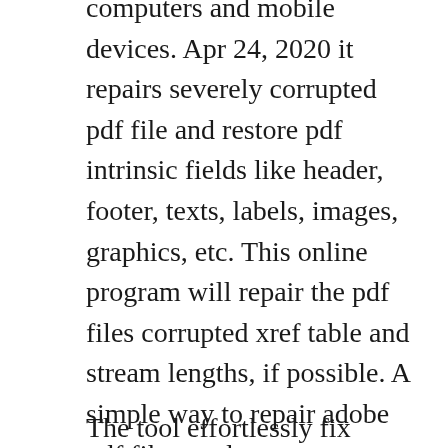computers and mobile devices. Apr 24, 2020 it repairs severely corrupted pdf file and restore pdf intrinsic fields like header, footer, texts, labels, images, graphics, etc. This online program will repair the pdf files corrupted xref table and stream lengths, if possible. A simple way to repair adobe pdf files nucleus technologies. You can repair the text only the text and not the graphic information or tables from the corrupted pdf file. Its an exact copy of your files, which can protect against file corruption.
The tool effortlessly fix corrupted pdf files